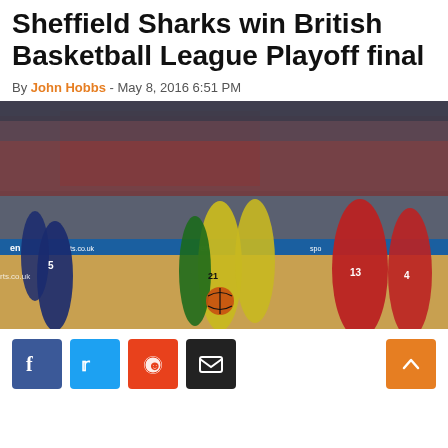Sheffield Sharks win British Basketball League Playoff final
By John Hobbs - May 8, 2016 6:51 PM
[Figure (photo): Basketball players celebrating on court during the British Basketball League Playoff final. Players in yellow (Sheffield Sharks) hugging and celebrating, players in red on the right, players in navy on the left. Large crowd in background. Advertising boards visible at courtside.]
Social sharing buttons: Facebook, Twitter, Reddit, Email. Scroll to top button.